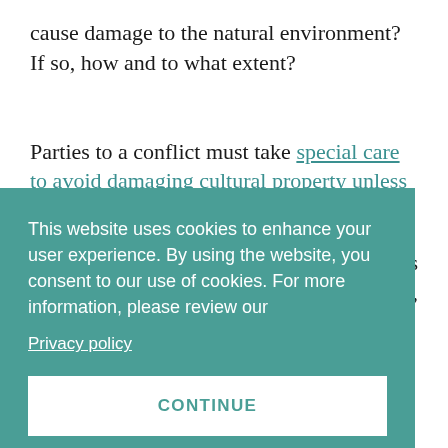cause damage to the natural environment? If so, how and to what extent?
Parties to a conflict must take special care to avoid damaging cultural property unless it is a military objective, and also avoid damaging...
This website uses cookies to enhance your user experience. By using the website, you consent to our use of cookies. For more information, please review our Privacy policy CONTINUE